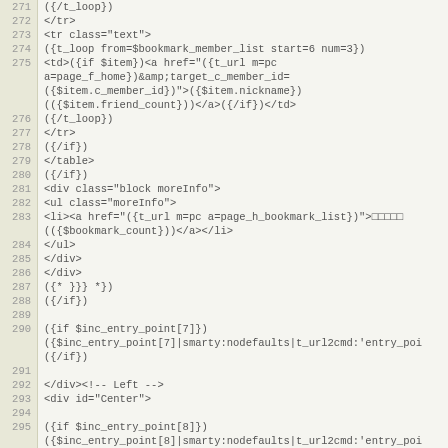Code listing lines 271-295, template/smarty code
271  ({/t_loop})
272  </tr>
273  <tr class="text">
274  ({t_loop from=$bookmark_member_list start=6 num=3})
275  <td>({if $item})<a href="({t_url m=pc a=page_f_home})&amp;target_c_member_id=({$item.c_member_id})">({$item.nickname})(({$item.friend_count}))</a>({/if})</td>
276  ({/t_loop})
277  </tr>
278  ({/if})
279  </table>
280  ({/if})
281  <div class="block moreInfo">
282  <ul class="moreInfo">
283  <li><a href="({t_url m=pc a=page_h_bookmark_list})">□□□□□(({$bookmark_count}))</a></li>
284  </ul>
285  </div>
286  </div>
287  ({* }}} *})
288  ({/if})
289  (empty)
290  ({if $inc_entry_point[7]}) ({$inc_entry_point[7]|smarty:nodefaults|t_url2cmd:'entry_poi ({/if})
291  (empty)
292  </div><!-- Left -->
293  <div id="Center">
294  (empty)
295  ({if $inc_entry_point[8]}) ({$inc_entry_point[8]|smarty:nodefaults|t_url2cmd:'entry_poi ({/if})